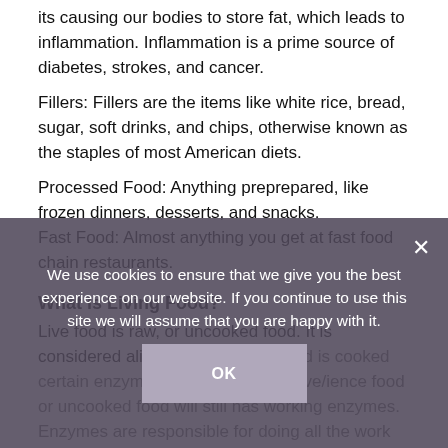its causing our bodies to store fat, which leads to inflammation. Inflammation is a prime source of diabetes, strokes, and cancer.
Fillers: Fillers are the items like white rice, bread, sugar, soft drinks, and chips, otherwise known as the staples of most American diets.
Processed Food: Anything preprepared, like frozen dinners, desserts, and snacks.
Fast Food: Almost anything you get at fast food chain restaurants.
What is Living Food?
Live food is raw, or uncooked food. It is considered alive because when food is cooked certain enzymes are denatured. A live/ience food or uncooked food will still has working enzymes. Enzymes are responsible for doing all the work inside a cell. Denaturation usually occurs when food is heated over 100 degrees.
Dead Foods To Give Up In 2017
We use cookies to ensure that we give you the best experience on our website. If you continue to use this site we will assume that you are happy with it.